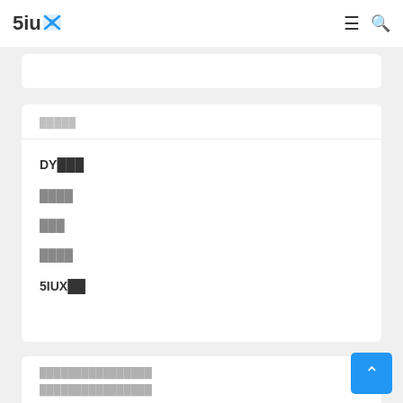5iux [logo] ≡ 🔍
████
DY███
████
███
████
5IUX██
████████████████
████████████████